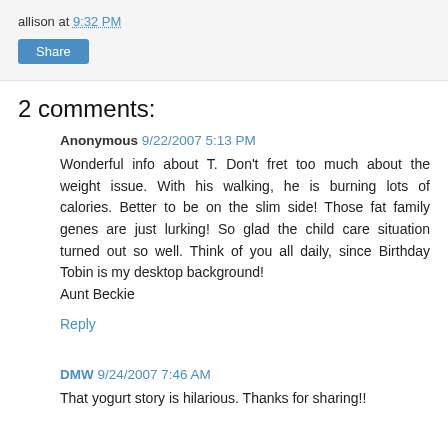allison at 9:32 PM
Share
2 comments:
Anonymous 9/22/2007 5:13 PM
Wonderful info about T. Don't fret too much about the weight issue. With his walking, he is burning lots of calories. Better to be on the slim side! Those fat family genes are just lurking! So glad the child care situation turned out so well. Think of you all daily, since Birthday Tobin is my desktop background!
Aunt Beckie
Reply
DMW 9/24/2007 7:46 AM
That yogurt story is hilarious. Thanks for sharing!!